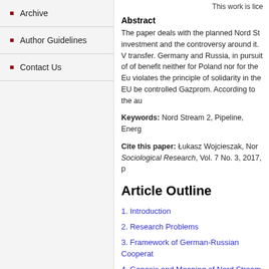Archive
Author Guidelines
Contact Us
This work is lice
Abstract
The paper deals with the planned Nord St investment and the controversy around it. V transfer. Germany and Russia, in pursuit of of benefit neither for Poland nor for the Eu violates the principle of solidarity in the EU be controlled Gazprom. According to the au
Keywords: Nord Stream 2, Pipeline, Energ
Cite this paper: Łukasz Wojcieszak, Nor Sociological Research, Vol. 7 No. 3, 2017, p
Article Outline
1. Introduction
2. Research Problems
3. Framework of German-Russian Cooperat
4. Genesis and Meaning of Nord Stream 2
5. Controversy around Nord Stream 2